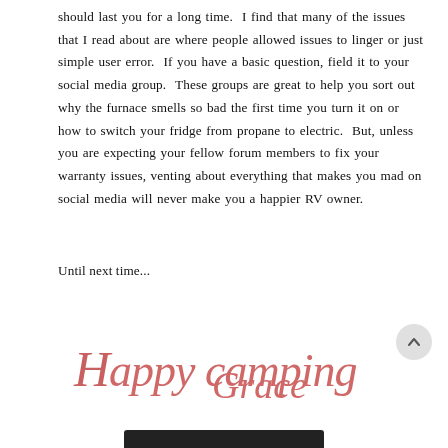should last you for a long time.  I find that many of the issues that I read about are where people allowed issues to linger or just simple user error.  If you have a basic question, field it to your social media group.  These groups are great to help you sort out why the furnace smells so bad the first time you turn it on or how to switch your fridge from propane to electric.  But, unless you are expecting your fellow forum members to fix your warranty issues, venting about everything that makes you mad on social media will never make you a happier RV owner.
Until next time...
[Figure (illustration): Handwritten-style cursive signature reading 'Happy camping Grace' in a coral/salmon pink color]
[Figure (other): Dark bottom bar element at the bottom of the page]